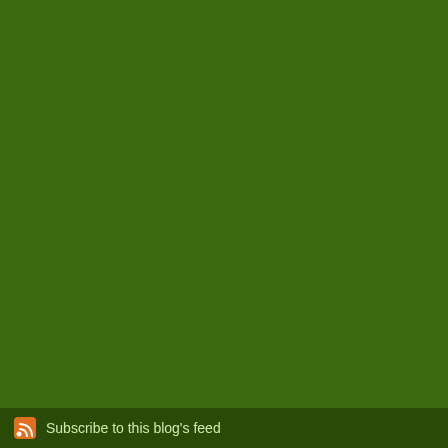[Figure (screenshot): Blog webpage screenshot with green background showing sidebar with thumbnails and text, a footer with RSS feed link]
Gre... mil... win...
[Figure (illustration): Green decorative mandala/snowflake thumbnail image]
Oh sta...
The comments to t...
P...
What I'd Like For...
Christmas is a mem... not. For all the com...
Subscribe to this blog's feed